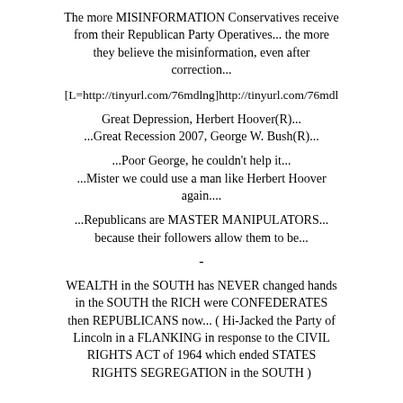The more MISINFORMATION Conservatives receive from their Republican Party Operatives... the more they believe the misinformation, even after correction...
[L=http://tinyurl.com/76mdlng]http://tinyurl.com/76mdl
Great Depression, Herbert Hoover(R)... ...Great Recession 2007, George W. Bush(R)...
...Poor George, he couldn't help it... ...Mister we could use a man like Herbert Hoover again....
...Republicans are MASTER MANIPULATORS... because their followers allow them to be...
-
WEALTH in the SOUTH has NEVER changed hands in the SOUTH the RICH were CONFEDERATES then REPUBLICANS now... ( Hi-Jacked the Party of Lincoln in a FLANKING in response to the CIVIL RIGHTS ACT of 1964 which ended STATES RIGHTS SEGREGATION in the SOUTH )